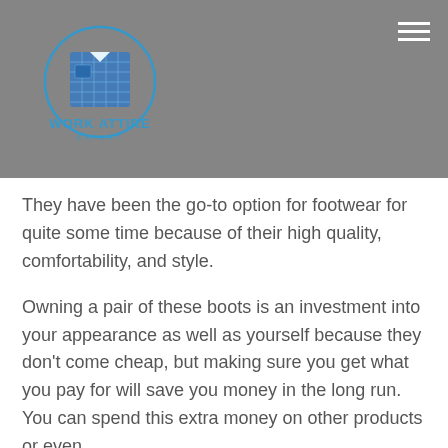[Figure (logo): Work Attire Expert logo: a blue plaid shirt icon inside a blue circle with text 'WORK ATTIRE EXPERT' below]
They have been the go-to option for footwear for quite some time because of their high quality, comfortability, and style.
Owning a pair of these boots is an investment into your appearance as well as yourself because they don't come cheap, but making sure you get what you pay for will save you money in the long run. You can spend this extra money on other products or even